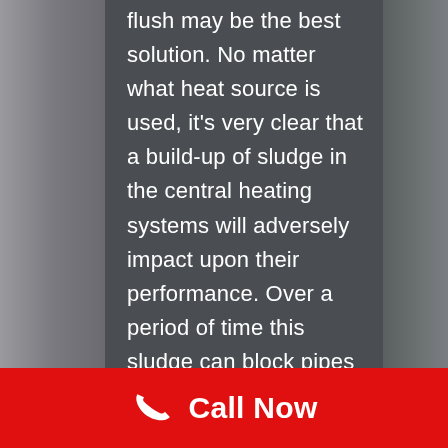flush may be the best solution. No matter what heat source is used, it's very clear that a build-up of sludge in the central heating systems will adversely impact upon their performance. Over a period of time this sludge can block pipes and stop the radiators from dispersing heat around the home. Central heating power flushing in Pendeford is a process which is carried out for cleaning your heating radiator system. It can improve heating system
Call Now